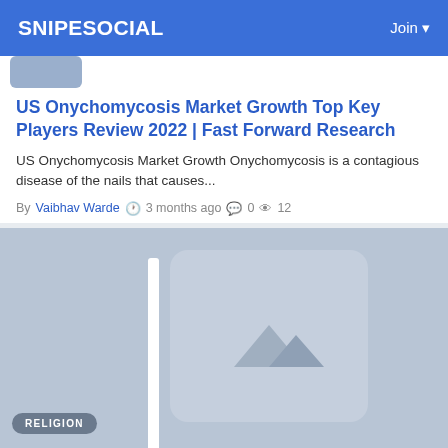SNIPESOCIAL | Join
[Figure (screenshot): Partial thumbnail image cropped at top of card]
US Onychomycosis Market Growth Top Key Players Review 2022 | Fast Forward Research
US Onychomycosis Market Growth Onychomycosis is a contagious disease of the nails that causes...
By Vaibhav Warde  3 months ago  0  12
[Figure (illustration): Image placeholder with mountain/landscape icon on blue-grey background with white rounded rectangle card and a vertical white bar. Religion badge visible at bottom left.]